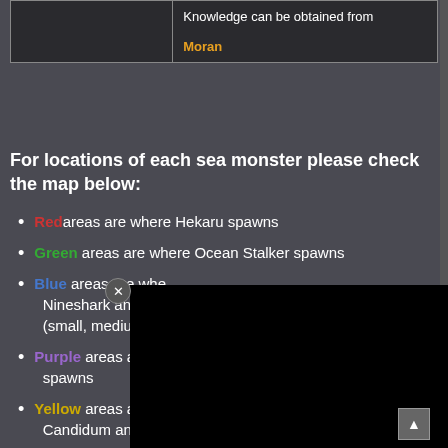|  |  |
| --- | --- |
|  | Knowledge can be obtained from
Moran |
For locations of each sea monster please check the map below:
Red areas are where Hekaru spawns
Green areas are where Ocean Stalker spawns
Blue areas are where Nineshark and Gold... (small, medium, larg...
Purple areas are wh... spawns
Yellow areas are where Black Rust, Candidum and Nineshark spawns